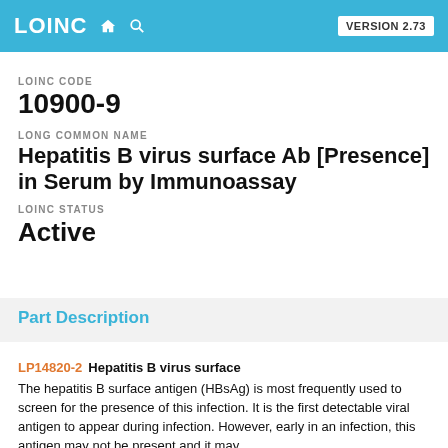LOINC VERSION 2.73
LOINC CODE
10900-9
LONG COMMON NAME
Hepatitis B virus surface Ab [Presence] in Serum by Immunoassay
LOINC STATUS
Active
Part Description
LP14820-2  Hepatitis B virus surface
The hepatitis B surface antigen (HBsAg) is most frequently used to screen for the presence of this infection. It is the first detectable viral antigen to appear during infection. However, early in an infection, this antigen may not be present and it may